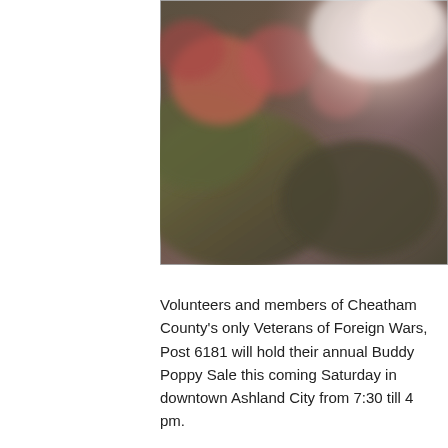[Figure (photo): A blurred outdoor photo with reddish-pink and green tones, appearing to show some kind of foliage or flowers with a bright light/glare in the upper right area.]
Volunteers and members of Cheatham County's only Veterans of Foreign Wars, Post 6181 will hold their annual Buddy Poppy Sale this coming Saturday in downtown Ashland City from 7:30 till 4 pm.
Former Commander and Buddy Poppy participant Harold Hodges reminds us